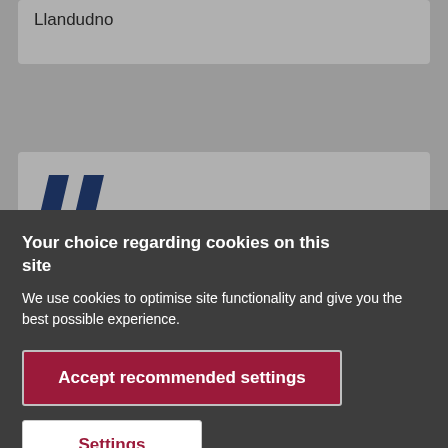Llandudno
[Figure (illustration): Large dark blue decorative quotation mark symbol]
Your choice regarding cookies on this site
We use cookies to optimise site functionality and give you the best possible experience.
Accept recommended settings
Settings